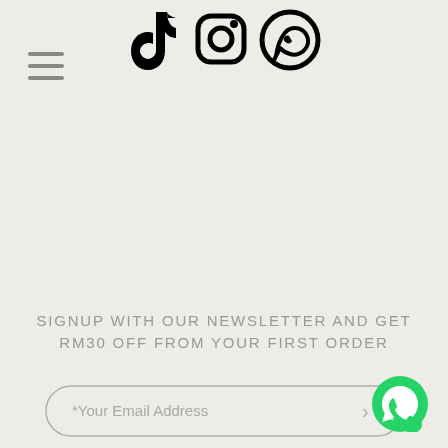[Figure (logo): Three social media icons in a row: TikTok, Instagram, WhatsApp]
[Figure (illustration): Hamburger menu icon (three horizontal lines) on the top left]
SIGNUP WITH OUR NEWSLETTER AND GET RM30 OFF FROM YOUR FIRST ORDER
[Figure (illustration): Email input field with placeholder '*Your Email Address' and a right arrow button, pill-shaped border]
[Figure (illustration): Green WhatsApp floating button icon at bottom right]